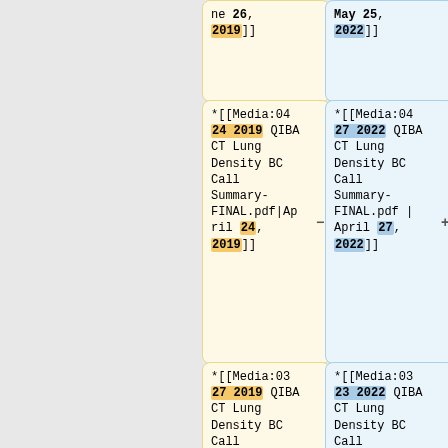ne 26, 2019]]
May 25, 2022]]
*[[Media:04 24 2019 QIBA CT Lung Density BC Call Summary-FINAL.pdf|April 24, 2019]]
*[[Media:04 27 2022 QIBA CT Lung Density BC Call Summary-FINAL.pdf | April 27, 2022]]
*[[Media:03 27 2019 QIBA CT Lung Density BC Call Summary-FINAL.pdf|March 27, 2019]]
*[[Media:03 23 2022 QIBA CT Lung Density BC Call Summary-FINAL.pdf | March 23, 2022]]